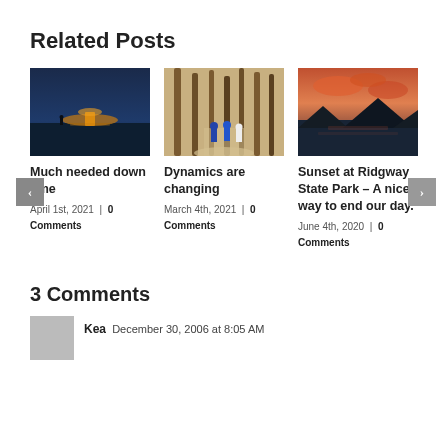Related Posts
[Figure (photo): Sunset over a lake with a silhouette of a person on the shore, dark blue and orange sky tones]
Much needed down time
April 1st, 2021  |  0 Comments
[Figure (photo): People cycling through a forest path with tall trees and dappled light]
Dynamics are changing
March 4th, 2021  |  0 Comments
[Figure (photo): Sunset at Ridgway State Park with orange and pink clouds over a dark lake and mountain silhouettes]
Sunset at Ridgway State Park – A nice way to end our day.
June 4th, 2020  |  0 Comments
3 Comments
Kea  December 30, 2006 at 8:05 AM